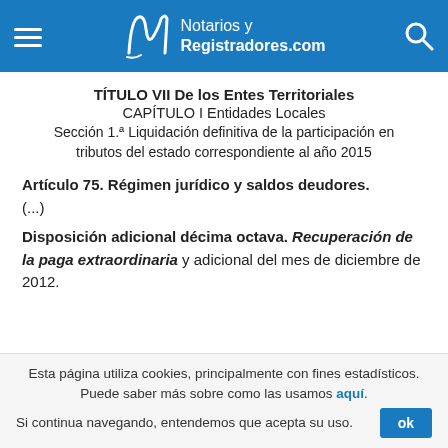Notarios y Registradores.com
TÍTULO VII De los Entes Territoriales
CAPÍTULO I Entidades Locales
Sección 1.ª Liquidación definitiva de la participación en tributos del estado correspondiente al año 2015
Artículo 75. Régimen jurídico y saldos deudores.
(...)
Disposición adicional décima octava. Recuperación de la paga extraordinaria y adicional del mes de diciembre de 2012.
Esta página utiliza cookies, principalmente con fines estadísticos. Puede saber más sobre como las usamos aquí. Si continua navegando, entendemos que acepta su uso.